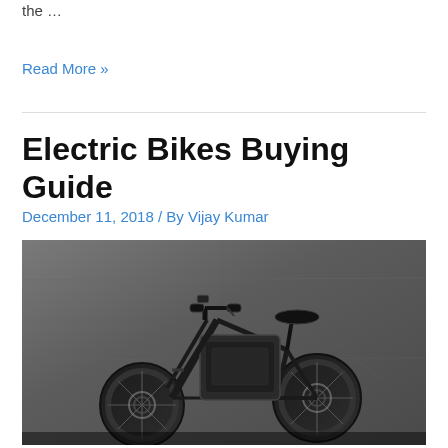the …
Read More »
Electric Bikes Buying Guide
December 11, 2018 / By Vijay Kumar
[Figure (photo): An electric mountain bike photographed against a concrete wall background. The bike is dark/black colored with large tires, front suspension forks, and a prominent battery pack on the frame.]